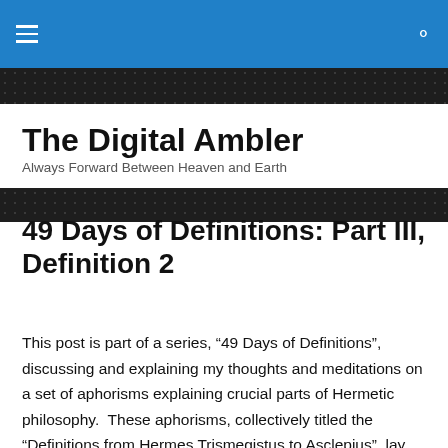The Digital Ambler
The Digital Ambler
Always Forward Between Heaven and Earth
49 Days of Definitions: Part III, Definition 2
This post is part of a series, “49 Days of Definitions”, discussing and explaining my thoughts and meditations on a set of aphorisms explaining crucial parts of Hermetic philosophy.  These aphorisms, collectively titled the “Definitions from Hermes Trismegistus to Asclepius”, lay out the basics of Hermetic philosophy, the place of Man in